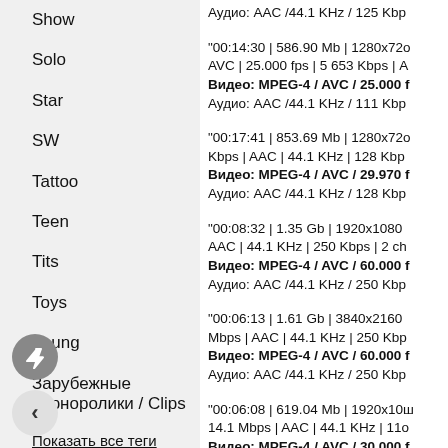Show
Solo
Star
SW
Tattoo
Teen
Tits
Toys
Young
Зарубежные порноролики / Clips
Показать все теги
Аудио: AAC /44.1 KHz / 125 Кбр
"00:14:30 | 586.90 Mb | 1280x720 AVC | 25.000 fps | 5 653 Kbps | A Видео: MPEG-4 / AVC / 25.000 f Аудио: AAC /44.1 KHz / 111 Кбр
"00:17:41 | 853.69 Mb | 1280x720 Kbps | AAC | 44.1 KHz | 128 Кбр Видео: MPEG-4 / AVC / 29.970 f Аудио: AAC /44.1 KHz / 128 Кбр
"00:08:32 | 1.35 Gb | 1920x1080 AAC | 44.1 KHz | 250 Kbps | 2 ch Видео: MPEG-4 / AVC / 60.000 f Аудио: AAC /44.1 KHz / 250 Кбр
"00:06:13 | 1.61 Gb | 3840x2160 Mbps | AAC | 44.1 KHz | 250 Кбр Видео: MPEG-4 / AVC / 60.000 f Аудио: AAC /44.1 KHz / 250 Кбр
"00:06:08 | 619.04 Mb | 1920x1080 14.1 Mbps | AAC | 44.1 KHz | 110 Видео: MPEG-4 / AVC / 30.000 f Аудио: AAC /44.1 KHz / 110 Кбр
"00:21:51 | 1.03 Gb | 1280x720 | Kbps | AAC | 44.1 KHz | 127 Кбр Видео: MPEG-4 / AVC / 30.000 f Аудио: AAC /44.1 KHz / 127 Кбр